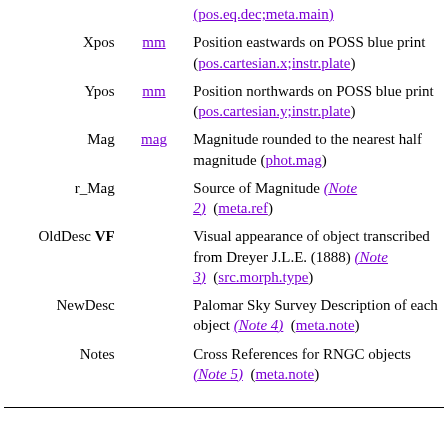| Name | Unit | Description |
| --- | --- | --- |
| Xpos | mm | Position eastwards on POSS blue print (pos.cartesian.x;instr.plate) |
| Ypos | mm | Position northwards on POSS blue print (pos.cartesian.y;instr.plate) |
| Mag | mag | Magnitude rounded to the nearest half magnitude (phot.mag) |
| r_Mag |  | Source of Magnitude (Note 2) (meta.ref) |
| OldDesc VF |  | Visual appearance of object transcribed from Dreyer J.L.E. (1888) (Note 3) (src.morph.type) |
| NewDesc |  | Palomar Sky Survey Description of each object (Note 4) (meta.note) |
| Notes |  | Cross References for RNGC objects (Note 5) (meta.note) |